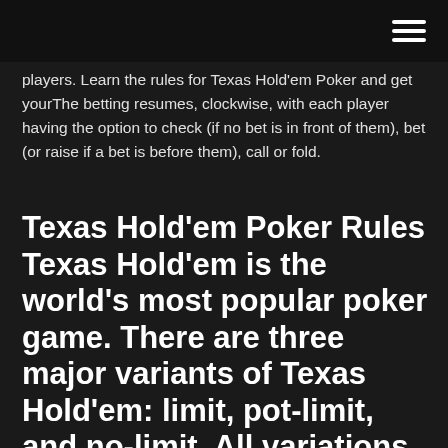[hamburger menu icon]
players. Learn the rules for Texas Hold'em Poker and get yourThe betting resumes, clockwise, with each player having the option to check (if no bet is in front of them), bet (or raise if a bet is before them), call or fold.
Texas Hold’em Poker Rules Texas Hold’em is the world’s most popular poker game. There are three major variants of Texas Hold’em: limit, pot-limit, and no-limit. All variations have the same basic structure and hand values; the betting is what